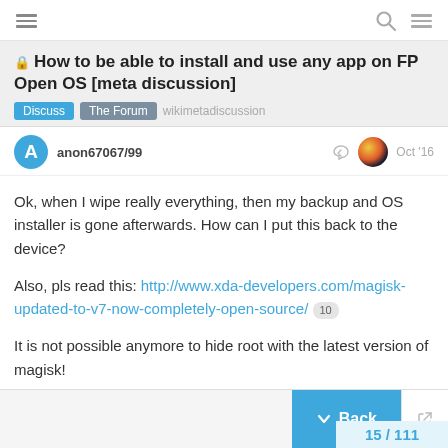How to be able to install and use any app on FP Open OS [meta discussion]
anon67067/99  Oct '16
Ok, when I wipe really everything, then my backup and OS installer is gone afterwards. How can I put this back to the device?
Also, pls read this: http://www.xda-developers.com/magisk-updated-to-v7-now-completely-open-source/ 10
It is not possible anymore to hide root with the latest version of magisk!
Back  15 / 111